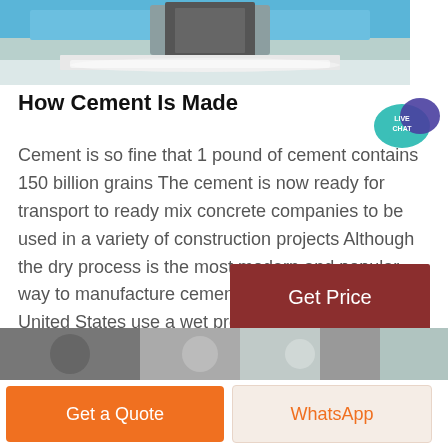[Figure (photo): Industrial machinery/conveyor with white granules or pellets, factory setting with mechanical equipment]
How Cement Is Made
[Figure (illustration): Live Chat speech bubble badge in teal/purple colors]
Cement is so fine that 1 pound of cement contains 150 billion grains The cement is now ready for transport to ready mix concrete companies to be used in a variety of construction projects Although the dry process is the most modern and popular way to manufacture cement some kilns in the United States use a wet process.
[Figure (other): Get Price button — dark red/maroon background with white text]
[Figure (photo): Bottom partial image showing industrial cement silos or pipes in grey tones]
Get a Quote
WhatsApp